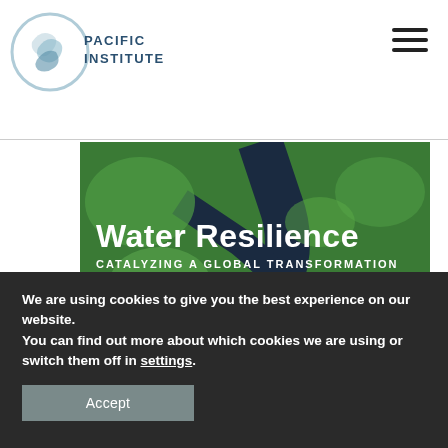PACIFIC INSTITUTE
[Figure (photo): Aerial photograph of a winding river through green marshland/wetlands with text overlay: 'Water Resilience - CATALYZING A GLOBAL TRANSFORMATION - 2021 ANNUAL REVIEW' with Pacific Institute logo watermark in bottom right corner.]
We are using cookies to give you the best experience on our website.
You can find out more about which cookies we are using or switch them off in settings.
Accept